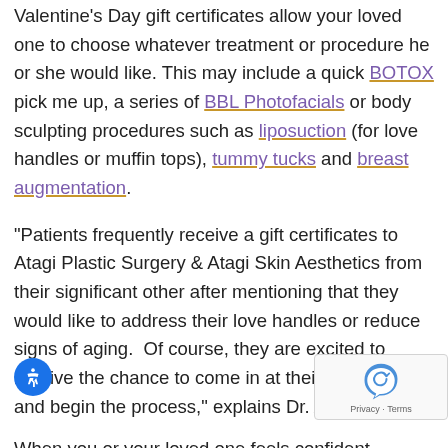Valentine's Day gift certificates allow your loved one to choose whatever treatment or procedure he or she would like. This may include a quick BOTOX pick me up, a series of BBL Photofacials or body sculpting procedures such as liposuction (for love handles or muffin tops), tummy tucks and breast augmentation.
“Patients frequently receive a gift certificates to Atagi Plastic Surgery & Atagi Skin Aesthetics from their significant other after mentioning that they would like to address their love handles or reduce signs of aging.  Of course, they are excited to receive the chance to come in at their convenience and begin the process,” explains Dr. Atagi.
When you or your loved one feels confident